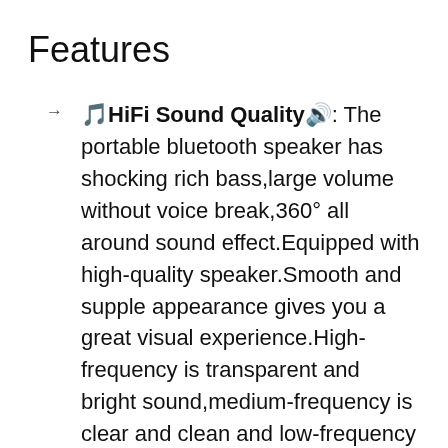Features
🎵HiFi Sound Quality🔊: The portable bluetooth speaker has shocking rich bass,large volume without voice break,360° all around sound effect.Equipped with high-quality speaker.Smooth and supple appearance gives you a great visual experience.High-frequency is transparent and bright sound,medium-frequency is clear and clean and low-frequency reaches pretty low but powerful with a full sound. It offers a rich sound and an enhanced